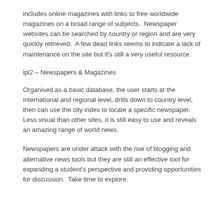includes online magazines with links to free worldwide magazines on a broad range of subjects.  Newspaper websites can be searched by country or region and are very quickly retrieved.  A few dead links seems to indicate a lack of maintenance on the site but it's still a very useful resource.
ipl2 – Newspapers & Magazines
Organised as a basic database, the user starts at the international and regional level, drills down to country level, then can use the city index to locate a specific newspaper.  Less visual than other sites, it is still easy to use and reveals an amazing range of world news.
Newspapers are under attack with the rise of blogging and alternative news tools but they are still an effective tool for expanding a student's perspective and providing opportunities for discussion.  Take time to explore.